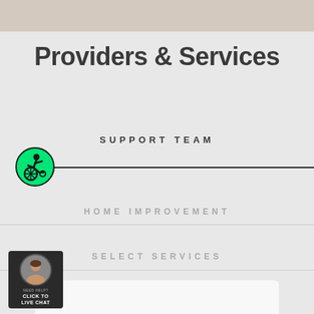Providers & Services
SUPPORT TEAM
[Figure (illustration): Green circle with wheelchair accessibility icon (person in wheelchair, dynamic symbol)]
HOME IMPROVEMENT
SELECT SERVICES
[Figure (illustration): Live chat widget with female avatar photo, 'NEED HELP? CLICK TO LIVE CHAT' text on dark background]